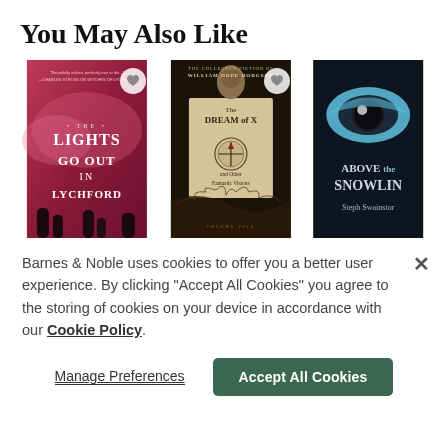You May Also Like
[Figure (illustration): Three book covers in a row: 'The Lights Go Out in Lychford' (pink/magenta with silhouette hands), 'The Dream of X and Other Fantastic Visions Volume Five – The Collected Fiction of William Hope Hodgson' (dark with compass and sea creature illustration), and 'Above the Snowline by Steph Swainston' (dark with blue eye illustration). First two covers have heart/wishlist buttons.]
Barnes & Noble uses cookies to offer you a better user experience. By clicking "Accept All Cookies" you agree to the storing of cookies on your device in accordance with our Cookie Policy
Manage Preferences
Accept All Cookies